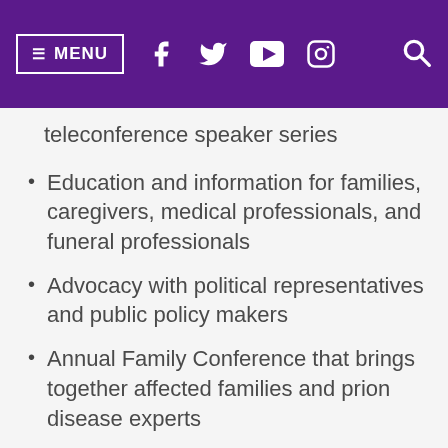MENU [navigation icons]
teleconference speaker series
Education and information for families, caregivers, medical professionals, and funeral professionals
Advocacy with political representatives and public policy makers
Annual Family Conference that brings together affected families and prion disease experts
Family Workshops held around the country
Collaboration with scientists, clinicians, medical centers, health authorities